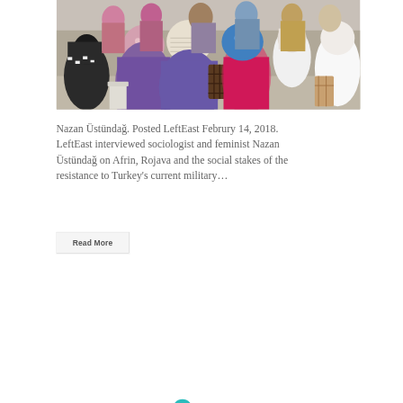[Figure (photo): Women wearing headscarves sitting in chairs at an outdoor gathering, viewed from behind and the side]
Nazan Üstündağ. Posted LeftEast Februry 14, 2018. LeftEast interviewed sociologist and feminist Nazan Üstündağ on Afrin, Rojava and the social stakes of the resistance to Turkey's current military…
Read More
1
2
3
»